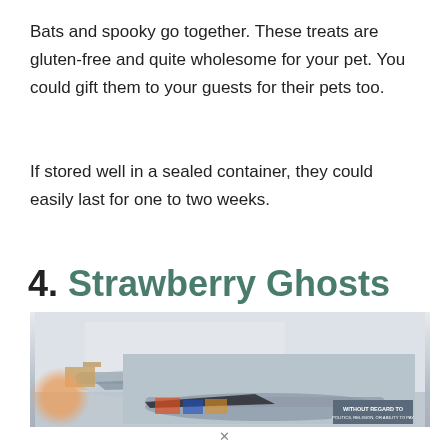Bats and spooky go together. These treats are gluten-free and quite wholesome for your pet. You could gift them to your guests for their pets too.
If stored well in a sealed container, they could easily last for one to two weeks.
4. Strawberry Ghosts
[Figure (photo): A photo of an airplane being loaded with cargo at an airport, with an advertisement overlay reading 'WITHOUT REGARD TO POLITICS, RELIGION, OR ABILITY TO PAY']
x